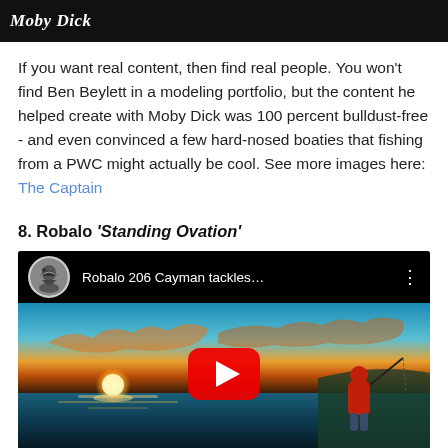[Figure (screenshot): Black header bar with 'Moby Dick' logo text in white italic/script font]
If you want real content, then find real people. You won't find Ben Beylett in a modeling portfolio, but the content he helped create with Moby Dick was 100 percent bulldust-free - and even convinced a few hard-nosed boaties that fishing from a PWC might actually be cool. See more images here: The Captain
8. Robalo 'Standing Ovation'
[Figure (screenshot): YouTube video thumbnail showing 'Robalo 206 Cayman tackles...' with a person in red jacket fishing at sunset, with YouTube play button overlay]